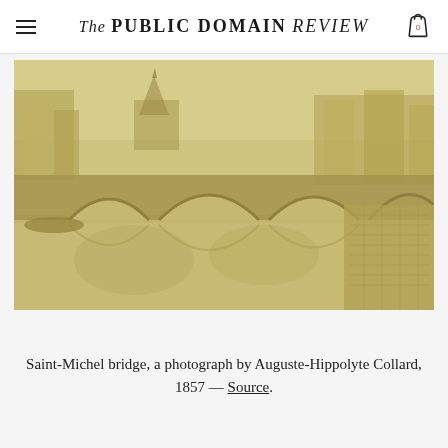The PUBLIC DOMAIN REVIEW
[Figure (photo): Sepia-toned historical photograph of the Saint-Michel bridge in Paris, 1857, showing stone arched bridge over the Seine River with Notre-Dame Cathedral visible in the background and cobblestone embankment in the foreground.]
Saint-Michel bridge, a photograph by Auguste-Hippolyte Collard, 1857 — Source.